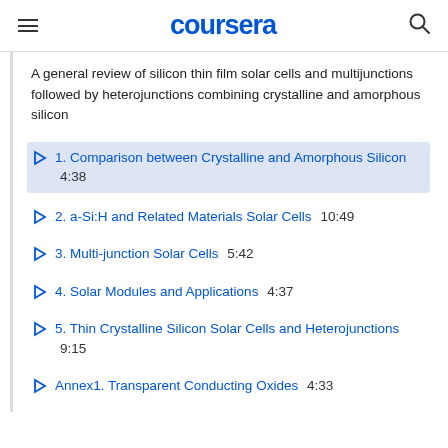coursera
A general review of silicon thin film solar cells and multijunctions followed by heterojunctions combining crystalline and amorphous silicon
1. Comparison between Crystalline and Amorphous Silicon  4:38
2. a-Si:H and Related Materials Solar Cells  10:49
3. Multi-junction Solar Cells  5:42
4. Solar Modules and Applications  4:37
5. Thin Crystalline Silicon Solar Cells and Heterojunctions  9:15
Annex1. Transparent Conducting Oxides  4:33